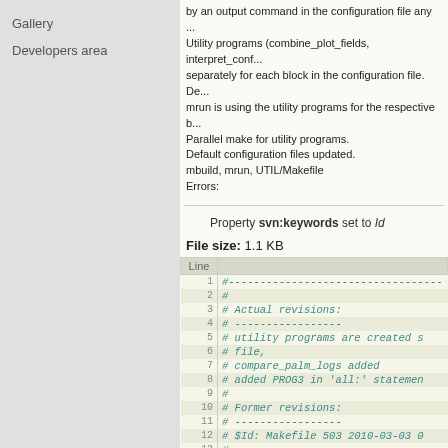Gallery
Developers area
by an output command in the configuration file any ... Utility programs (combine_plot_fields, interpret_conf... separately for each block in the configuration file. De... mrun is using the utility programs for the respective b... Parallel make for utility programs. Default configuration files updated. mbuild, mrun, UTIL/Makefile Errors:
Property svn:keywords set to Id
File size: 1.1 KB
| Line |  |
| --- | --- |
| 1 | #----------------------------------------------------------- |
| 2 | # |
| 3 | # Actual revisions: |
| 4 | # ----------------- |
| 5 | # utility programs are created s |
| 6 | # file, |
| 7 | # compare_palm_logs added |
| 8 | # added PROG3 in 'all:' statemen |
| 9 | # |
| 10 | # Former revisions: |
| 11 | # ----------------- |
| 12 | # $Id: Makefile 503 2010-03-03 0 |
| 13 | # |
| 14 | # Initial revision somewhere in |
| 15 | # |
| 16 | # Description: |
| 17 | # ------------ |
| 18 | # Makefile for generating the ut |
| 19 | # |